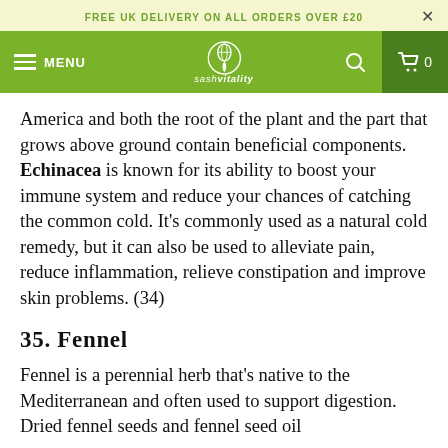FREE UK DELIVERY ON ALL ORDERS OVER £20
[Figure (logo): SashVitality website navigation bar with menu, logo, search and cart icons]
America and both the root of the plant and the part that grows above ground contain beneficial components. Echinacea is known for its ability to boost your immune system and reduce your chances of catching the common cold. It's commonly used as a natural cold remedy, but it can also be used to alleviate pain, reduce inflammation, relieve constipation and improve skin problems. (34)
35. Fennel
Fennel is a perennial herb that's native to the Mediterranean and often used to support digestion. Dried fennel seeds and fennel seed oil